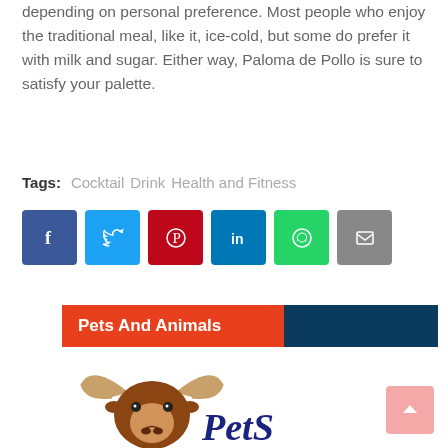depending on personal preference. Most people who enjoy the traditional meal, like it, ice-cold, but some do prefer it with milk and sugar. Either way, Paloma de Pollo is sure to satisfy your palette.
Tags: Cocktail  Drink  Health and Fitness
[Figure (infographic): Social media share buttons: Facebook (blue), Twitter (light blue), Pinterest (dark red), LinkedIn (blue), WhatsApp (green), Email (grey)]
Pets And Animals
[Figure (logo): Pets And Animals logo featuring a bull/longhorn head illustration and stylized 'PetS' script text]